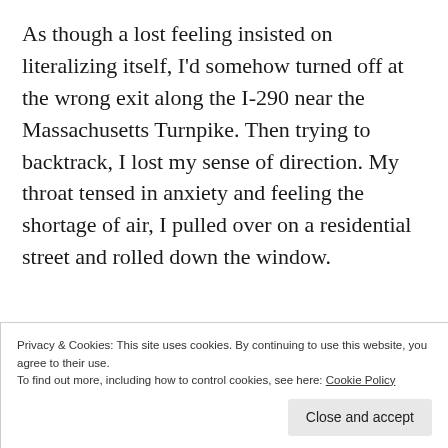As though a lost feeling insisted on literalizing itself, I'd somehow turned off at the wrong exit along the I-290 near the Massachusetts Turnpike. Then trying to backtrack, I lost my sense of direction. My throat tensed in anxiety and feeling the shortage of air, I pulled over on a residential street and rolled down the window.
Privacy & Cookies: This site uses cookies. By continuing to use this website, you agree to their use. To find out more, including how to control cookies, see here: Cookie Policy